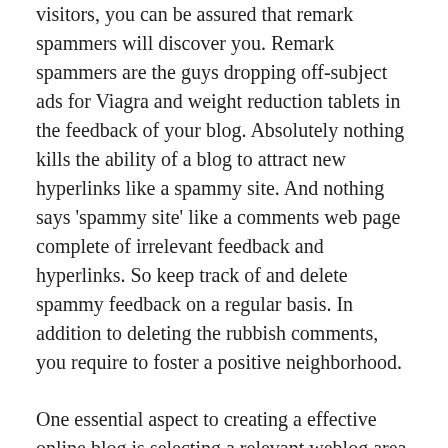visitors, you can be assured that remark spammers will discover you. Remark spammers are the guys dropping off-subject ads for Viagra and weight reduction tablets in the feedback of your blog. Absolutely nothing kills the ability of a blog to attract new hyperlinks like a spammy site. And nothing says 'spammy site' like a comments web page complete of irrelevant feedback and hyperlinks. So keep track of and delete spammy feedback on a regular basis. In addition to deleting the rubbish comments, you require to foster a positive neighborhood.
One essential aspect to creating a effective online blog is selecting a relevant weblog area title. "A domain name is a name that briefly describes your website/blog". So, if you were to choose a domain title for your blog, it is very best to pick a name that partly describes your niche.
Also, paid sites will have much simpler access to